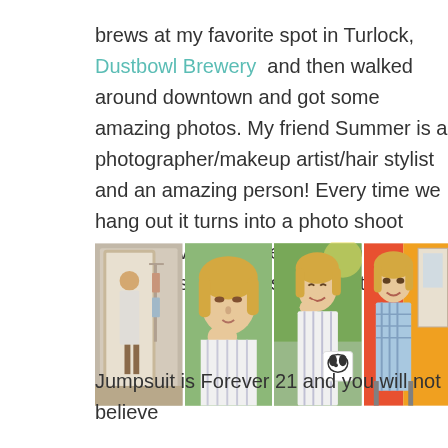brews at my favorite spot in Turlock, Dustbowl Brewery and then walked around downtown and got some amazing photos. My friend Summer is a photographer/makeup artist/hair stylist and an amazing person! Every time we hang out it turns into a photo shoot which I love because I used to model. Here are some shots from that day.
[Figure (photo): A collage of four photos of a blonde woman: first is a mirror selfie showing a striped jumpsuit in a boutique, second is a close-up portrait outdoors, third shows her smiling outdoors holding a Snoopy purse, fourth shows her seated outdoors in a colorful setting.]
Jumpsuit is Forever 21 and you will not believe